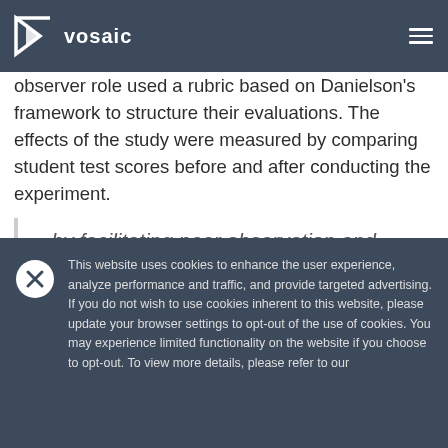Vosaic [logo and navigation bar]
observer role used a rubric based on Danielson's framework to structure their evaluations. The effects of the study were measured by comparing student test scores before and after conducting the experiment.
...by facilitating peer observation and feedback, schools allow teachers to learn from each other without the pressure of formal
This website uses cookies to enhance the user experience, analyze performance and traffic, and provide targeted advertising. If you do not wish to use cookies inherent to this website, please update your browser settings to opt-out of the use of cookies. You may experience limited functionality on the website if you choose to opt-out. To view more details, please refer to our